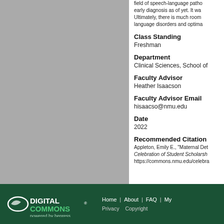field of speech-language patho... early diagnosis as of yet. It wa... Ultimately, there is much room... language disorders and optima...
Class Standing
Freshman
Department
Clinical Sciences, School of
Faculty Advisor
Heather Isaacson
Faculty Advisor Email
hisaacso@nmu.edu
Date
2022
Recommended Citation
Appleton, Emily E., "Maternal Det... Celebration of Student Scholarsh... https://commons.nmu.edu/celebra...
DIGITAL COMMONS powered by bepress | Home | About | FAQ | My... | Privacy | Copyright